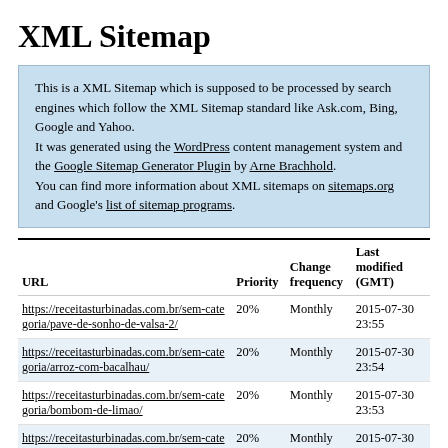XML Sitemap
This is a XML Sitemap which is supposed to be processed by search engines which follow the XML Sitemap standard like Ask.com, Bing, Google and Yahoo.
It was generated using the WordPress content management system and the Google Sitemap Generator Plugin by Arne Brachhold.
You can find more information about XML sitemaps on sitemaps.org and Google's list of sitemap programs.
| URL | Priority | Change frequency | Last modified (GMT) |
| --- | --- | --- | --- |
| https://receitasturbinadas.com.br/sem-categoria/pave-de-sonho-de-valsa-2/ | 20% | Monthly | 2015-07-30 23:55 |
| https://receitasturbinadas.com.br/sem-categoria/arroz-com-bacalhau/ | 20% | Monthly | 2015-07-30 23:54 |
| https://receitasturbinadas.com.br/sem-categoria/bombom-de-limao/ | 20% | Monthly | 2015-07-30 23:53 |
| https://receitasturbinadas.com.br/sem-categoria/torta-fria-de-frango/ | 20% | Monthly | 2015-07-30 23:52 |
| https://receitasturbinadas.com.br/sem-categoria/peixe-empanado-assado/ | 20% | Monthly | 2015-07-30 23:51 |